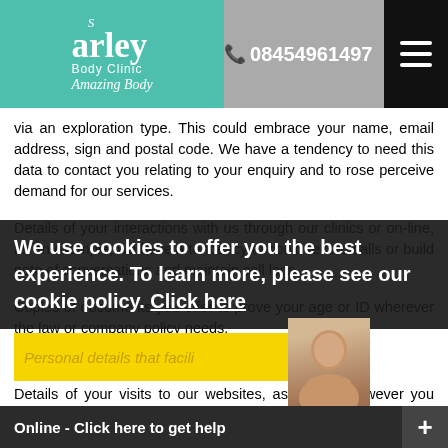Harley Body Clinic Amazing Body | 08454961497
via an exploration type. This could embrace your name, email address, sign and postal code. We have a tendency to need this data to contact you relating to your enquiry and to rose perceive demand for our services.
Details of your interactions with us through our clinics or on-line, as an example, we have a tendency to could record calls or build note of conversations and maintain call logs.
Copies of documents you offer to prove your age or ID wherever the law or company policy needs.
Payment details.
Details of your visits to our websites, as well as however you arrived, that page you visited, time spent, links clicked and technical data concerning your device and net association.
Personal details that facilitate build suggestions, as an example, you will indicate that you have a specific skin condition or concern, that might influence the treatments.
We use cookies to offer you the best experience. To learn more, please see our cookie policy. Click here
Online - Click here to get help